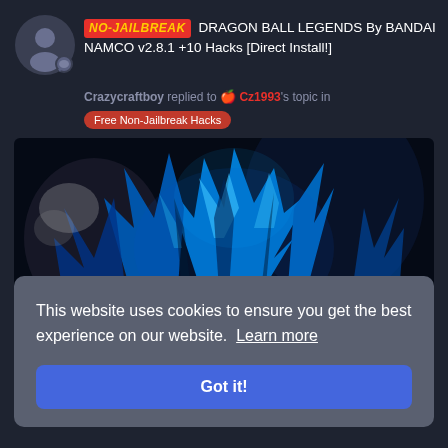[Figure (illustration): User avatar circle with silhouette person icon and small chat bubble badge, on dark background]
NO-JAILBREAK DRAGON BALL LEGENDS By BANDAI NAMCO v2.8.1 +10 Hacks [Direct Install!]
Crazycraftboy replied to 🍎 Cz1993's topic in
Free Non-Jailbreak Hacks
[Figure (illustration): Anime artwork of a blue-haired Super Saiyan Blue character from Dragon Ball Legends, depicted in close-up with vibrant blue and cyan hair spikes and a dark background]
This website uses cookies to ensure you get the best experience on our website.  Learn more
Got it!